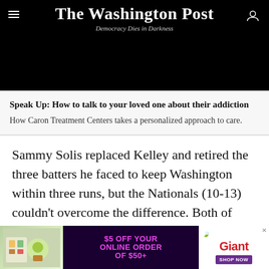The Washington Post
Democracy Dies in Darkness
[Figure (photo): Black image area, likely a video thumbnail]
Speak Up: How to talk to your loved one about their addiction
How Caron Treatment Centers takes a personalized approach to care.
Sammy Solis replaced Kelley and retired the three batters he faced to keep Washington within three runs, but the Nationals (10-13) couldn't overcome the difference. Both of Washington's runs came via
[Figure (infographic): $5 OFF YOUR ONLINE ORDER OF $50+ Giant SHOP NOW advertisement banner]